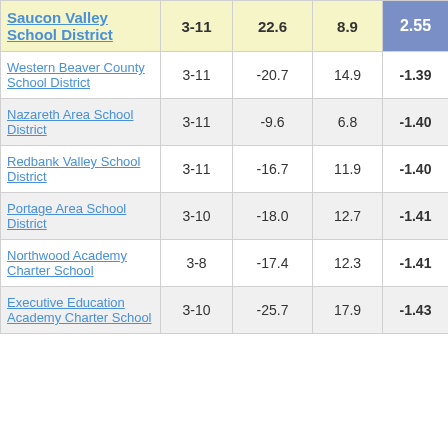| School District | Grades | Col3 | Col4 | Score |
| --- | --- | --- | --- | --- |
| Saucon Valley School District | 3-11 | 22.6 | 8.9 | 2.55 |
| Western Beaver County School District | 3-11 | -20.7 | 14.9 | -1.39 |
| Nazareth Area School District | 3-11 | -9.6 | 6.8 | -1.40 |
| Redbank Valley School District | 3-11 | -16.7 | 11.9 | -1.40 |
| Portage Area School District | 3-10 | -18.0 | 12.7 | -1.41 |
| Northwood Academy Charter School | 3-8 | -17.4 | 12.3 | -1.41 |
| Executive Education Academy Charter School | 3-10 | -25.7 | 17.9 | -1.43 |